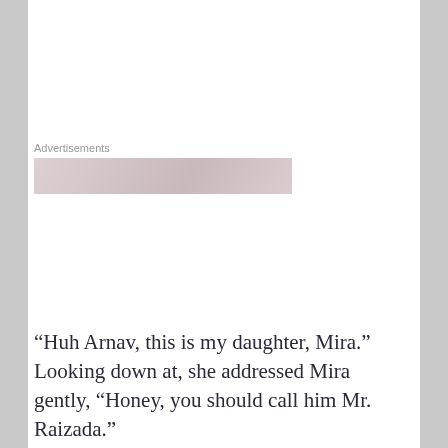[Figure (other): Advertisements placeholder box with pinkish-beige gradient background]
Advertisements
“Huh Arnav, this is my daughter, Mira.”  Looking down at, she addressed Mira gently, “Honey, you should call him Mr. Raizada.”
Privacy & Cookies: This site uses cookies. By continuing to use this website, you agree to their use.
To find out more, including how to control cookies, see here: Cookie Policy
Close and accept